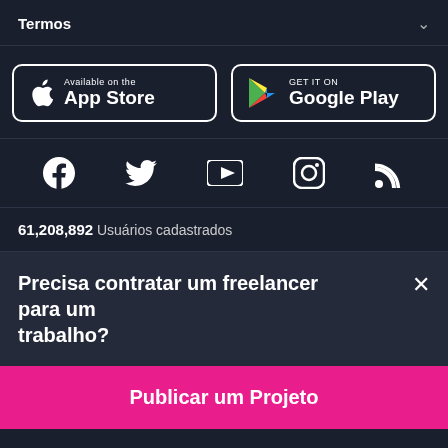Termos
[Figure (logo): Available on the App Store button with Apple logo]
[Figure (logo): GET IT ON Google Play button with Play Store triangle logo]
[Figure (infographic): Social media icons: Facebook, Twitter, YouTube, Instagram, RSS feed]
61,208,892 Usuários cadastrados
Precisa contratar um freelancer para um trabalho?
Publicar um Projeto